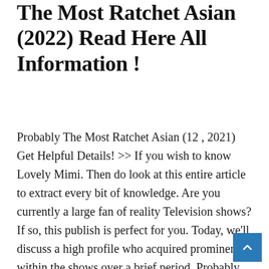The Most Ratchet Asian (2022) Read Here All Information !
Probably The Most Ratchet Asian (12 , 2021) Get Helpful Details! >> If you wish to know Lovely Mimi. Then do look at this entire article to extract every bit of knowledge. Are you currently a large fan of reality Television shows? If so, this publish is perfect for you. Today, we'll discuss a high profile who acquired prominence within the shows over a brief period. Probably The Most Ratchet Asian is Lovely Mimi, and her uniqueness is winning lots of fame Worldwide. We'll provide within this publish emphasizing how she acquired a lot recognition by discussing insights about her personal history. If you wish to understand all